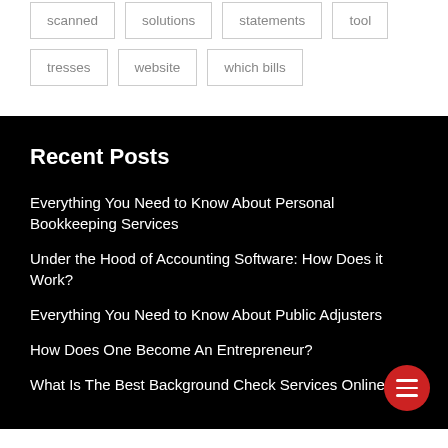scanned
solutions
statements
tool
tresses
website
which bills
Recent Posts
Everything You Need to Know About Personal Bookkeeping Services
Under the Hood of Accounting Software: How Does it Work?
Everything You Need to Know About Public Adjusters
How Does One Become An Entrepreneur?
What Is The Best Background Check Services Online?